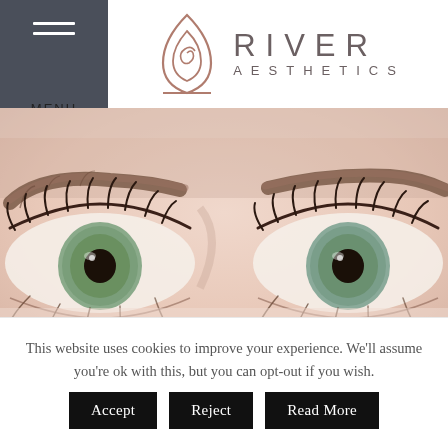[Figure (logo): River Aesthetics logo with a triangular teardrop icon in rose gold/copper color and text RIVER AESTHETICS in grey sans-serif]
[Figure (photo): Close-up photo of a woman's eyes with long lashes and green irises against a soft peachy-skin tone background]
This website uses cookies to improve your experience. We'll assume you're ok with this, but you can opt-out if you wish.
Accept
Reject
Read More